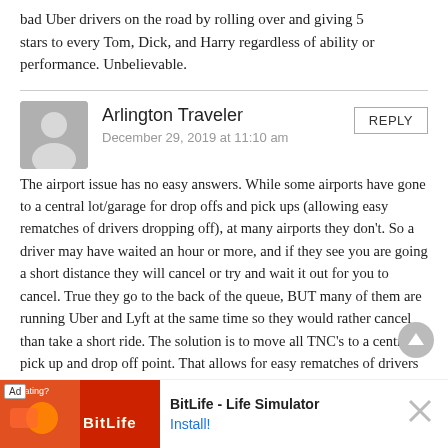bad Uber drivers on the road by rolling over and giving 5 stars to every Tom, Dick, and Harry regardless of ability or performance. Unbelievable.
Arlington Traveler
December 29, 2019 at 11:10 am
The airport issue has no easy answers. While some airports have gone to a central lot/garage for drop offs and pick ups (allowing easy rematches of drivers dropping off), at many airports they don't. So a driver may have waited an hour or more, and if they see you are going a short distance they will cancel or try and wait it out for you to cancel. True they go to the back of the queue, BUT many of them are running Uber and Lyft at the same time so they would rather cancel than take a short ride. The solution is to move all TNC's to a central pick up and drop off point. That allows for easy rematches of drivers dropping off. It reduces congestion on the pick-up drop off lanes and reduces confusion at the price of losing curbside convenience.
[Figure (other): BitLife - Life Simulator advertisement banner with app icon and Install button]